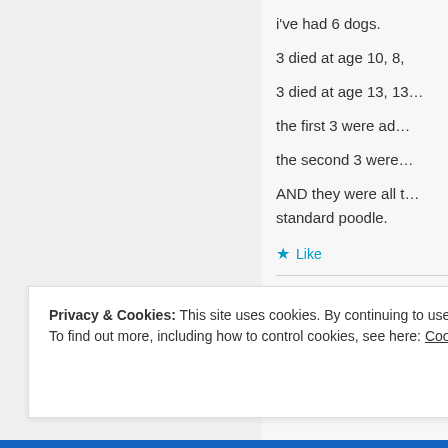i've had 6 dogs.

3 died at age 10, 8,

3 died at age 13, 13...

the first 3 were ad...

the second 3 were...

AND they were all t... standard poodle.
Like
pumpkinp
SEPTEMBER 1
Privacy & Cookies: This site uses cookies. By continuing to use this website, you agree to their use.
To find out more, including how to control cookies, see here: Cookie Policy
Close and accept